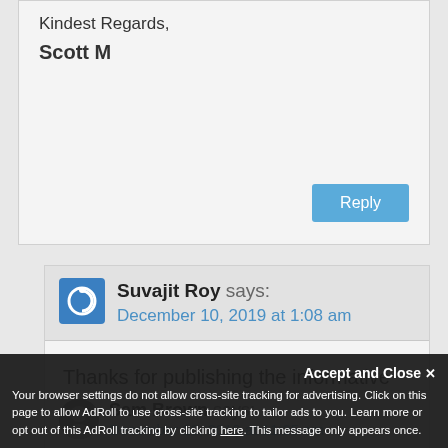Kindest Regards,
Scott M
Reply
Suvajit Roy says:
December 10, 2019 at 1:08 am
Thanks for publishing the informative blog. Really a helpful blog.
Sam Brown says:
December 10, 2019 at 11:25 am
Accept and Close
Your browser settings do not allow cross-site tracking for advertising. Click on this page to allow AdRoll to use cross-site tracking to tailor ads to you. Learn more or opt out of this AdRoll tracking by clicking here. This message only appears once.